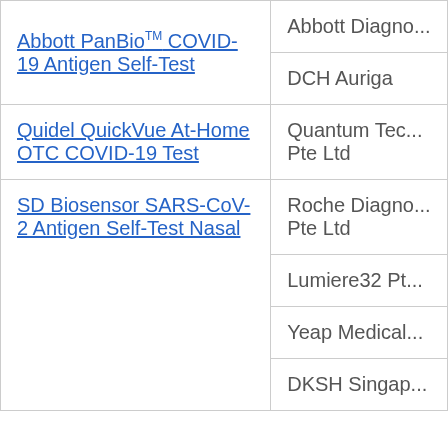| Product | Distributor |
| --- | --- |
| Abbott PanBio™ COVID-19 Antigen Self-Test | Abbott Diagno... |
|  | DCH Auriga |
| Quidel QuickVue At-Home OTC COVID-19 Test | Quantum Tec... Pte Ltd |
| SD Biosensor SARS-CoV-2 Antigen Self-Test Nasal | Roche Diagno... Pte Ltd |
|  | Lumiere32 Pt... |
|  | Yeap Medical... |
|  | DKSH Singap... |